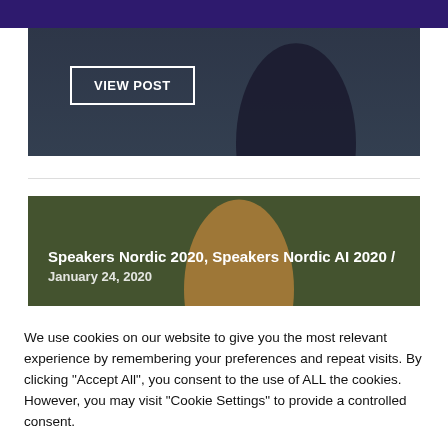[Figure (photo): Top photo of a person against a blue/dark outdoor background with a 'VIEW POST' button overlay]
VIEW POST
[Figure (photo): Bottom photo of a person with greenery background, overlaid with text 'Speakers Nordic 2020, Speakers Nordic AI 2020 / January 24, 2020']
Speakers Nordic 2020, Speakers Nordic AI 2020 / January 24, 2020
We use cookies on our website to give you the most relevant experience by remembering your preferences and repeat visits. By clicking “Accept All”, you consent to the use of ALL the cookies. However, you may visit "Cookie Settings" to provide a controlled consent.
Cookie Settings
Accept All